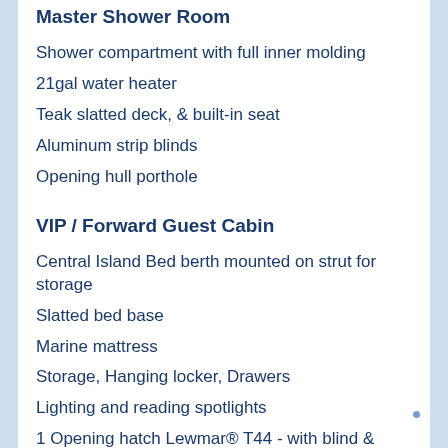Master Shower Room
Shower compartment with full inner molding
21gal water heater
Teak slatted deck, & built-in seat
Aluminum strip blinds
Opening hull porthole
VIP / Forward Guest Cabin
Central Island Bed berth mounted on strut for storage
Slatted bed base
Marine mattress
Storage, Hanging locker, Drawers
Lighting and reading spotlights
1 Opening hatch Lewmar® T44 - with blind &